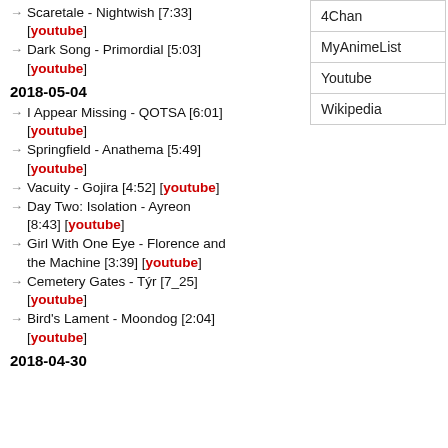Scaretale - Nightwish [7:33] [youtube]
Dark Song - Primordial [5:03] [youtube]
2018-05-04
I Appear Missing - QOTSA [6:01] [youtube]
Springfield - Anathema [5:49] [youtube]
Vacuity - Gojira [4:52] [youtube]
Day Two: Isolation - Ayreon [8:43] [youtube]
Girl With One Eye - Florence and the Machine [3:39] [youtube]
Cemetery Gates - Týr [7_25] [youtube]
Bird's Lament - Moondog [2:04] [youtube]
2018-04-30
| Site |
| --- |
| 4Chan |
| MyAnimeList |
| Youtube |
| Wikipedia |